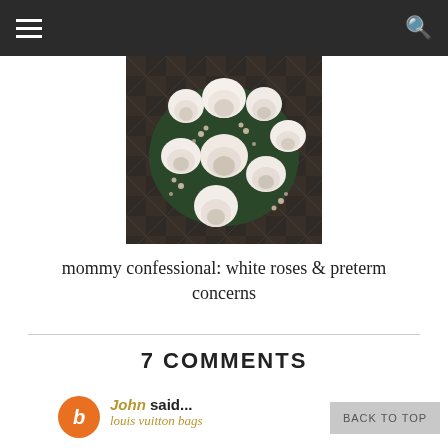baby bump & 39 weeks - momtique operate
[Figure (photo): Overhead photo of white roses bouquet on a dark plaid/checkered background]
mommy confessional: white roses & preterm concerns
7 COMMENTS
John said...
louis vuitton bags